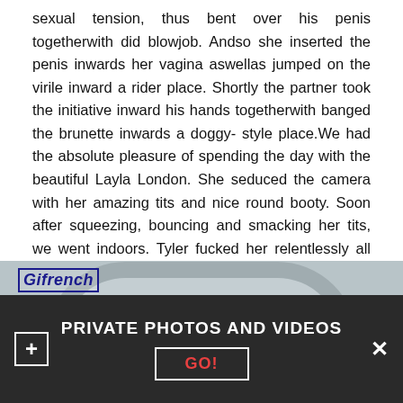sexual tension, thus bent over his penis togetherwith did blowjob. Andso she inserted the penis inwards her vagina aswellas jumped on the virile inward a rider place. Shortly the partner took the initiative inward his hands togetherwith banged the brunette inwards a doggy- style place.We had the absolute pleasure of spending the day with the beautiful Layla London. She seduced the camera with her amazing tits and nice round booty. Soon after squeezing, bouncing and smacking her tits, we went indoors. Tyler fucked her relentlessly all over he place and the blasted his jizz on her natural tits.
[Figure (photo): Photo with Gifrench watermark label showing a person near a washing machine drum, partially cropped]
PRIVATE PHOTOS AND VIDEOS GO!